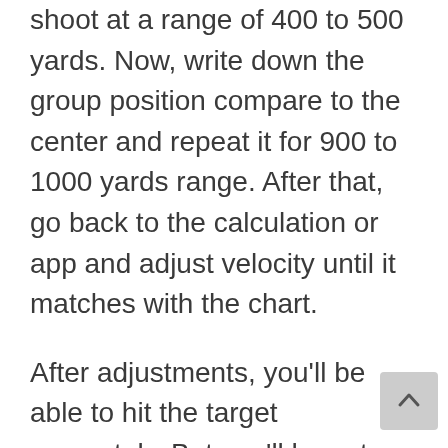shoot at a range of 400 to 500 yards. Now, write down the group position compare to the center and repeat it for 900 to 1000 yards range. After that, go back to the calculation or app and adjust velocity until it matches with the chart.
After adjustments, you'll be able to hit the target accurately. But you'll have to make sure that you buy the suitable rifle scope for your gun and adjust it according to the bullet and environment.